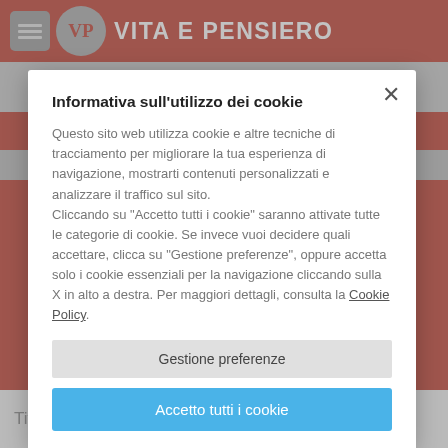VITA E PENSIERO
Informativa sull'utilizzo dei cookie
Questo sito web utilizza cookie e altre tecniche di tracciamento per migliorare la tua esperienza di navigazione, mostrarti contenuti personalizzati e analizzare il traffico sul sito. Cliccando su "Accetto tutti i cookie" saranno attivate tutte le categorie di cookie. Se invece vuoi decidere quali accettare, clicca su "Gestione preferenze", oppure accetta solo i cookie essenziali per la navigazione cliccando sulla X in alto a destra. Per maggiori dettagli, consulta la Cookie Policy.
Gestione preferenze
Accetto tutti i cookie
Titolo    AEVUM  2021  3